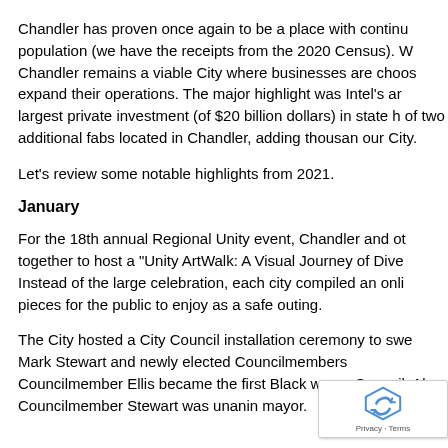Chandler has proven once again to be a place with continu population (we have the receipts from the 2020 Census). W Chandler remains a viable City where businesses are choos expand their operations. The major highlight was Intel's ar largest private investment (of $20 billion dollars) in state h of two additional fabs located in Chandler, adding thousan our City.
Let's review some notable highlights from 2021.
January
For the 18th annual Regional Unity event, Chandler and ot together to host a "Unity ArtWalk: A Visual Journey of Dive Instead of the large celebration, each city compiled an onli pieces for the public to enjoy as a safe outing.
The City hosted a City Council installation ceremony to swe Mark Stewart and newly elected Councilmembers Councilmember Ellis became the first Black woma Council. Also, Councilmember Stewart was unanin mayor.